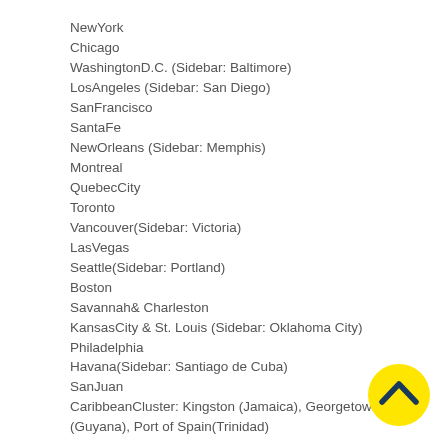NewYork
Chicago
WashingtonD.C. (Sidebar: Baltimore)
LosAngeles (Sidebar: San Diego)
SanFrancisco
SantaFe
NewOrleans (Sidebar: Memphis)
Montreal
QuebecCity
Toronto
Vancouver(Sidebar: Victoria)
LasVegas
Seattle(Sidebar: Portland)
Boston
Savannah& Charleston
KansasCity & St. Louis (Sidebar: Oklahoma City)
Philadelphia
Havana(Sidebar: Santiago de Cuba)
SanJuan
CaribbeanCluster: Kingston (Jamaica), Georgetown (Guyana), Port of Spain(Trinidad)
[Figure (illustration): Yellow circle with dark blue upward chevron arrow icon in bottom right corner]